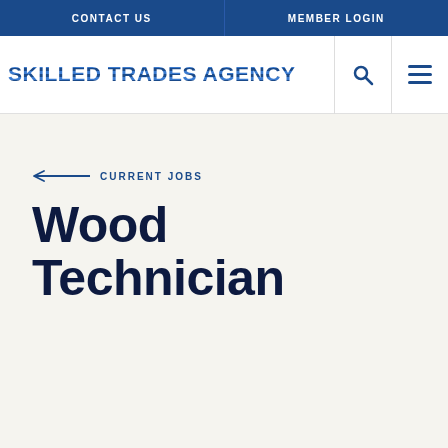CONTACT US | MEMBER LOGIN
[Figure (logo): Skilled Trades Agency logo with striped blue text]
← CURRENT JOBS
Wood Technician